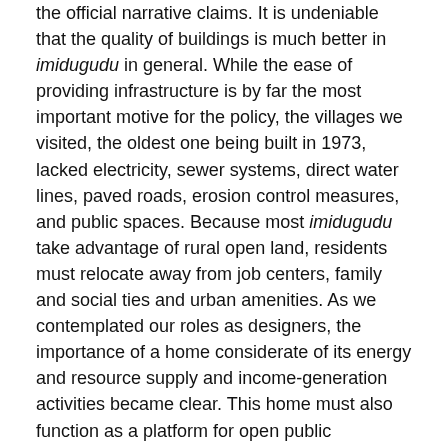the official narrative claims. It is undeniable that the quality of buildings is much better in imidugudu in general. While the ease of providing infrastructure is by far the most important motive for the policy, the villages we visited, the oldest one being built in 1973, lacked electricity, sewer systems, direct water lines, paved roads, erosion control measures, and public spaces. Because most imidugudu take advantage of rural open land, residents must relocate away from job centers, family and social ties and urban amenities. As we contemplated our roles as designers, the importance of a home considerate of its energy and resource supply and income-generation activities became clear. This home must also function as a platform for open public discussion that formal public spaces are incapable of providing in Rwanda's current political climate.
Women comprised 70% of the residential population after the genocide, because so many men had been either killed or put in jail. Previously forbidden from owning property or